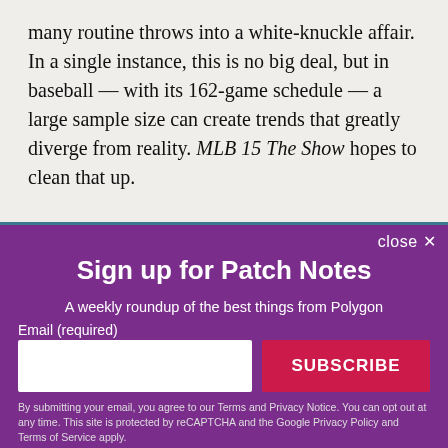many routine throws into a white-knuckle affair. In a single instance, this is no big deal, but in baseball — with its 162-game schedule — a large sample size can create trends that greatly diverge from reality. MLB 15 The Show hopes to clean that up.
[Figure (photo): Partial image strip visible behind the modal overlay, showing a teal/blue colored scene]
close ✕
Sign up for Patch Notes
A weekly roundup of the best things from Polygon
Email (required)
SUBSCRIBE
By submitting your email, you agree to our Terms and Privacy Notice. You can opt out at any time. This site is protected by reCAPTCHA and the Google Privacy Policy and Terms of Service apply.